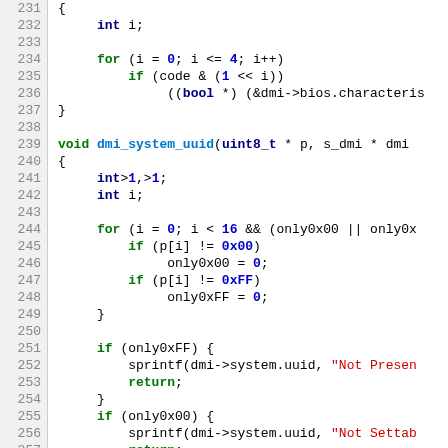[Figure (screenshot): Source code viewer showing C code lines 231-257 with syntax highlighting. Line numbers on left, code on right. Keywords in green/bold, types in dark blue, numeric literals in blue/bold, string literals in red, function names in blue/bold.]